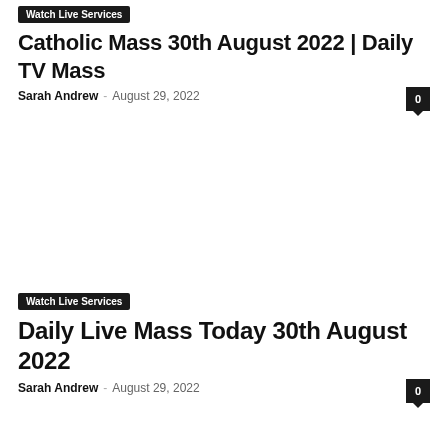Watch Live Services
Catholic Mass 30th August 2022 | Daily TV Mass
Sarah Andrew – August 29, 2022
[Figure (photo): White/blank image area for article thumbnail]
Watch Live Services
Daily Live Mass Today 30th August 2022
Sarah Andrew – August 29, 2022